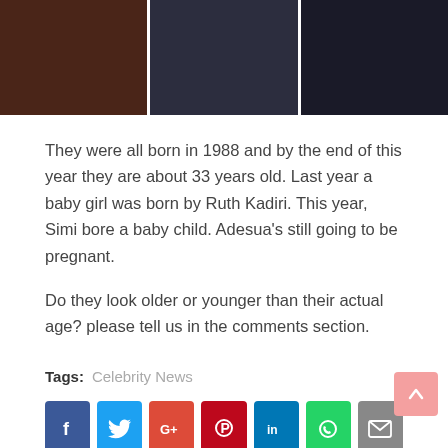[Figure (photo): Three cropped photos of women side by side at the top of the page]
They were all born in 1988 and by the end of this year they are about 33 years old. Last year a baby girl was born by Ruth Kadiri. This year, Simi bore a baby child. Adesua's still going to be pregnant.
Do they look older or younger than their actual age? please tell us in the comments section.
Tags: Celebrity News
[Figure (infographic): Row of social media share buttons: Facebook, Twitter, Google+, Pinterest, LinkedIn, WhatsApp, Email]
You may like these posts
[Figure (photo): Thumbnail image for a related post at the bottom]